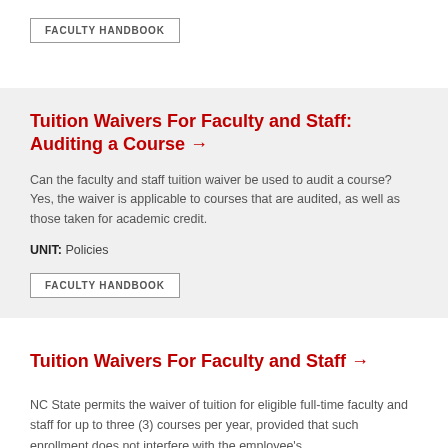FACULTY HANDBOOK
Tuition Waivers For Faculty and Staff: Auditing a Course →
Can the faculty and staff tuition waiver be used to audit a course? Yes, the waiver is applicable to courses that are audited, as well as those taken for academic credit.
UNIT: Policies
FACULTY HANDBOOK
Tuition Waivers For Faculty and Staff →
NC State permits the waiver of tuition for eligible full-time faculty and staff for up to three (3) courses per year, provided that such enrollment does not interfere with the employee's